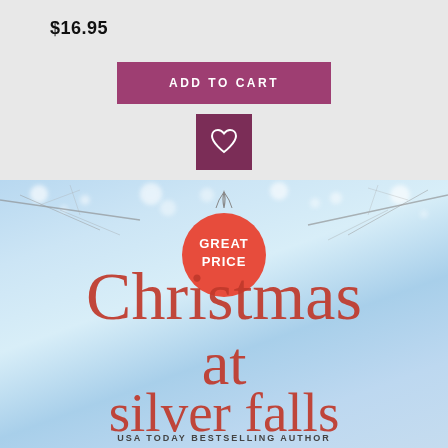$16.95
ADD TO CART
[Figure (illustration): Heart/wishlist button icon in dark purple square]
[Figure (illustration): Book cover for 'Christmas at Silver Falls' with winter bokeh background, red Christmas ornament badge saying GREAT PRICE, large red serif title text reading 'Christmas at silver falls', and text 'USA TODAY BESTSELLING AUTHOR' at bottom]